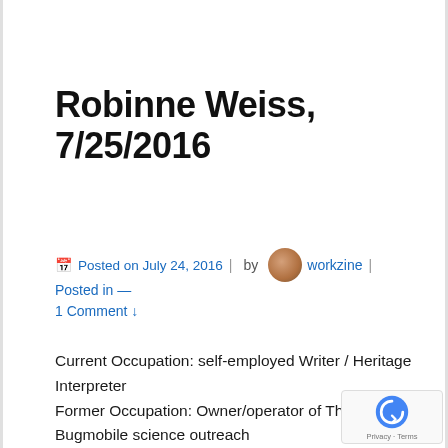Robinne Weiss, 7/25/2016
Posted on July 24, 2016 | by workzine | Posted in —
1 Comment ↓
Current Occupation: self-employed Writer / Heritage Interpreter
Former Occupation: Owner/operator of The Bugmobile science outreach
Contact Information: The natural world is my first love. I have degrees in resource management and entomolo… and have spent most of my career as a heritage interpreter—telling real-life stories of people, places, and